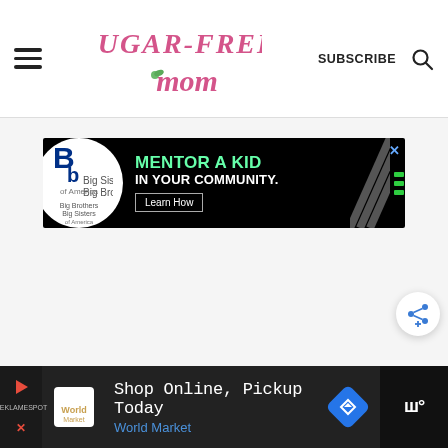[Figure (logo): Sugar-Free Mom website header with hamburger menu, logo, Subscribe button, and search icon]
[Figure (infographic): Big Brothers Big Sisters advertisement: 'MENTOR A KID IN YOUR COMMUNITY.' with Learn How button]
[Figure (infographic): Share button (circular with share icon)]
[Figure (infographic): Bottom advertisement: 'Shop Online, Pickup Today - World Market' banner ad with play button, World Market logo, and weather widget]